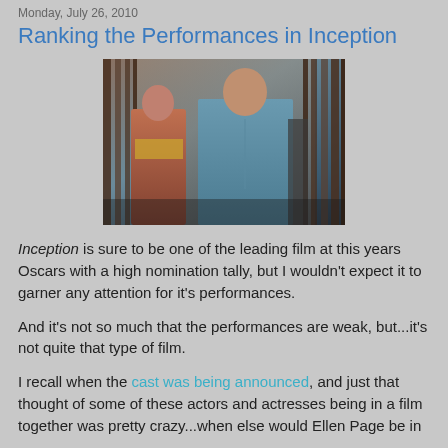Monday, July 26, 2010
Ranking the Performances in Inception
[Figure (photo): Movie still from Inception showing two actors — a woman on the left partially obscured by bars/gate, and a man in a blue shirt in the center, standing between what appear to be large gate or fence bars with a stone/brick structure in the background.]
Inception is sure to be one of the leading film at this years Oscars with a high nomination tally, but I wouldn't expect it to garner any attention for it's performances.
And it's not so much that the performances are weak, but...it's not quite that type of film.
I recall when the cast was being announced, and just that thought of some of these actors and actresses being in a film together was pretty crazy...when else would Ellen Page be in